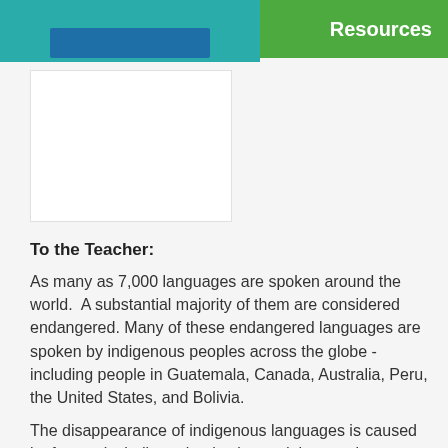Resources
To the Teacher:
As many as 7,000 languages are spoken around the world.  A substantial majority of them are considered endangered. Many of these endangered languages are spoken by indigenous peoples across the globe - including people in Guatemala, Canada, Australia, Peru, the United States, and Bolivia.
The disappearance of indigenous languages is caused by factors including urbanization and the growing globalization of culture, media, and art. In addition, some governmental